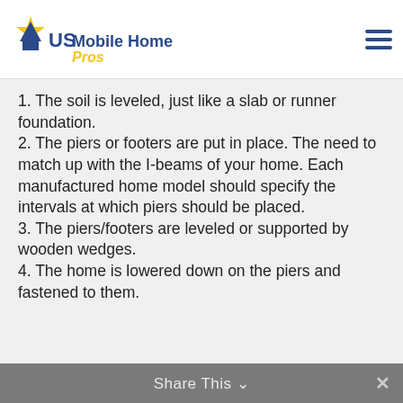[Figure (logo): US Mobile Home Pros logo with star and house icon, text 'US Mobile Home Pros' where 'Pros' is in yellow/gold italic]
1. The soil is leveled, just like a slab or runner foundation.
2. The piers or footers are put in place. The need to match up with the I-beams of your home. Each manufactured home model should specify the intervals at which piers should be placed.
3. The piers/footers are leveled or supported by wooden wedges.
4. The home is lowered down on the piers and fastened to them.
Share This ∨  ×